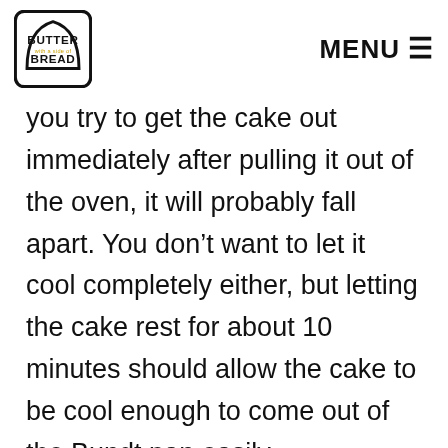BUTTER with a side of BREAD | MENU
you try to get the cake out immediately after pulling it out of the oven, it will probably fall apart. You don’t want to let it cool completely either, but letting the cake rest for about 10 minutes should allow the cake to be cool enough to come out of the Bundt pan easily.